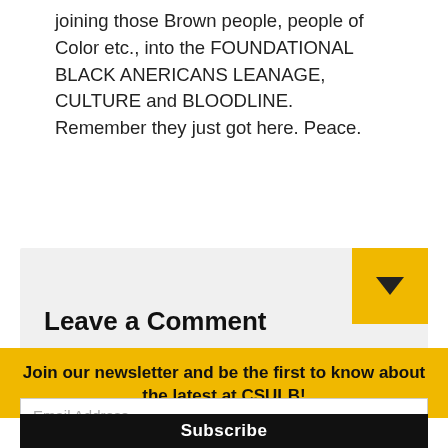joining those Brown people, people of Color etc., into the FOUNDATIONAL BLACK ANERICANS LEANAGE, CULTURE and BLOODLINE. Remember they just got here. Peace.
Leave a Comment
Join our newsletter and be the first to know about the latest at CSULB!
Email Address
Subscribe